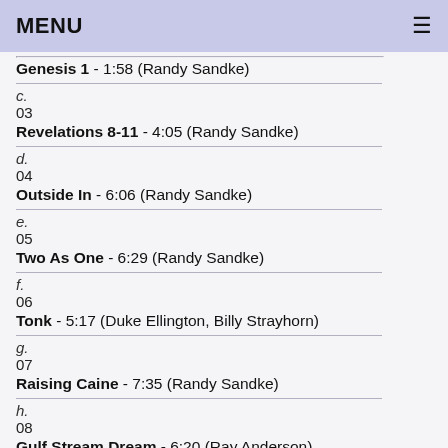MENU
c.
03
Genesis 1 - 1:58  (Randy Sandke)
d.
04
Revelations 8-11 - 4:05  (Randy Sandke)
e.
05
Outside In - 6:06  (Randy Sandke)
f.
06
Two As One - 6:29  (Randy Sandke)
f.
06
Tonk - 5:17  (Duke Ellington, Billy Strayhorn)
g.
07
Raising Caine - 7:35  (Randy Sandke)
h.
08
Gulf Stream Dream - 6:20  (Ray Anderson)
i.